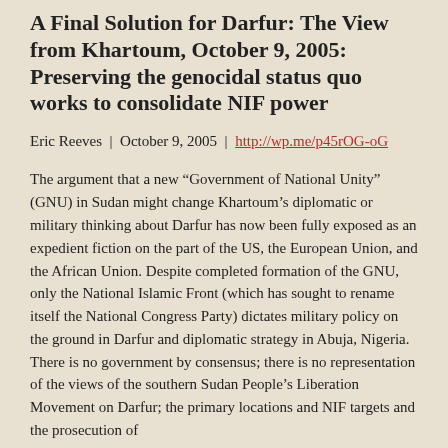A Final Solution for Darfur: The View from Khartoum, October 9, 2005: Preserving the genocidal status quo works to consolidate NIF power
Eric Reeves  |  October 9, 2005  |  http://wp.me/p45rOG-oG
The argument that a new “Government of National Unity” (GNU) in Sudan might change Khartoum’s diplomatic or military thinking about Darfur has now been fully exposed as an expedient fiction on the part of the US, the European Union, and the African Union. Despite completed formation of the GNU, only the National Islamic Front (which has sought to rename itself the National Congress Party) dictates military policy on the ground in Darfur and diplomatic strategy in Abuja, Nigeria. There is no government by consensus; there is no representation of the views of the southern Sudan People’s Liberation Movement on Darfur; the primary locations and NIF targets and the prosecution of